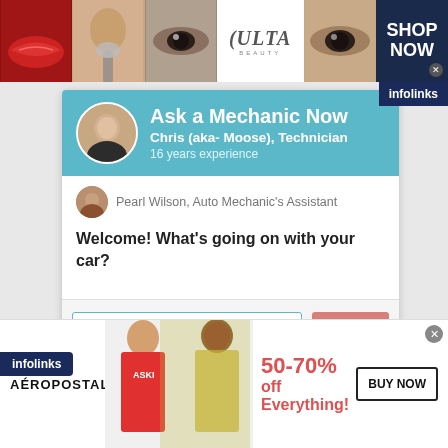[Figure (photo): ULTA Beauty advertisement banner with makeup imagery including lips, brush, eyes, ULTA logo, and SHOP NOW call to action]
Ask a Mechanic Now
Chris (aka- Moose), Technician
16 years experience
Pearl Wilson, Auto Mechanic's Assistant
Welcome! What's going on with your car?
Type your message...
Send
[Figure (photo): infolinks advertisement badge]
[Figure (photo): Aeropostale advertisement banner with models and 50-70% off Everything promotion with BUY NOW button]